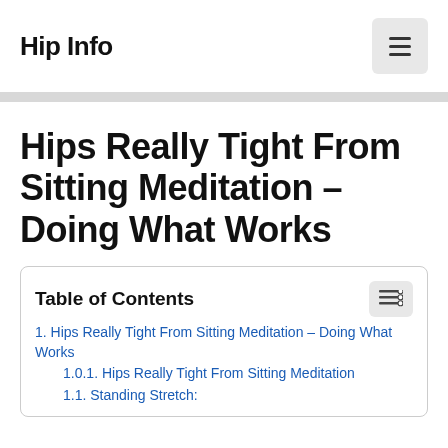Hip Info
Hips Really Tight From Sitting Meditation – Doing What Works
Table of Contents
1. Hips Really Tight From Sitting Meditation – Doing What Works
1.0.1. Hips Really Tight From Sitting Meditation
1.1. Standing Stretch: